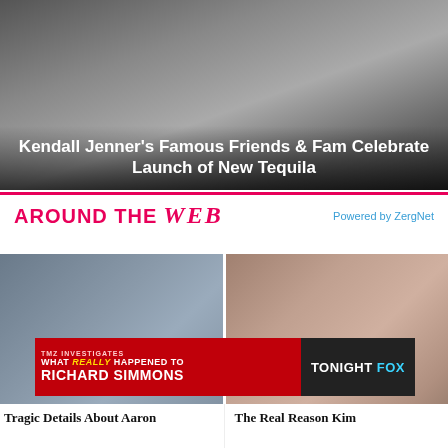[Figure (photo): Hero photo showing figures in background, partially visible]
Kendall Jenner’s Famous Friends & Fam Celebrate Launch of New Tequila
AROUND THE WEB
Powered by ZergNet
[Figure (photo): Close-up photo of a young man with short hair, likely a sports figure (Aaron)]
[Figure (photo): Close-up photo of two people side by side (Pete Davidson and Kim Kardashian)]
[Figure (infographic): TMZ Investigates ad banner: WHAT REALLY HAPPENED TO RICHARD SIMMONS - TONIGHT FOX]
Tragic Details About Aaron
The Real Reason Kim